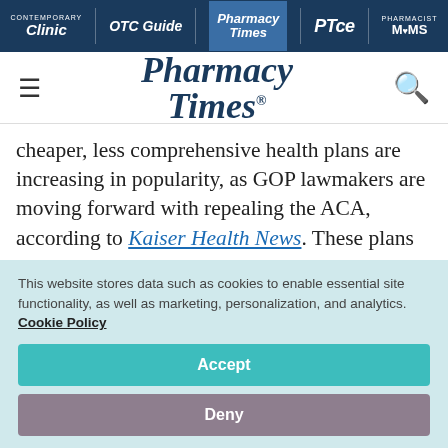Contemporary Clinic | OTC Guide | Pharmacy Times | PTce | Pharmacist MOMS
[Figure (logo): Pharmacy Times logo with hamburger menu and search icon]
cheaper, less comprehensive health plans are increasing in popularity, as GOP lawmakers are moving forward with repealing the ACA, according to Kaiser Health News. These plans do not cover preventive services or maternity care.
This website stores data such as cookies to enable essential site functionality, as well as marketing, personalization, and analytics. Cookie Policy
Accept
Deny